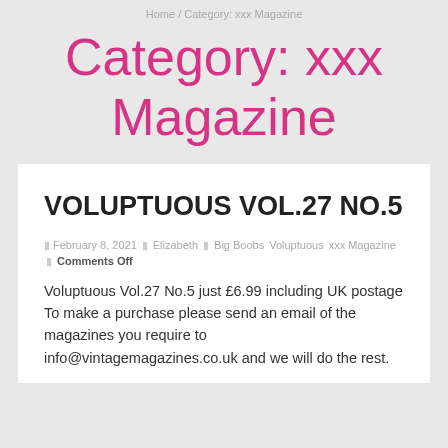Home / Category: xxx Magazine
Category: xxx Magazine
VOLUPTUOUS VOL.27 NO.5
February 8, 2021 | Elizabeth | Big Boobs | Voluptuous | xxx Magazine | Comments Off
Voluptuous Vol.27 No.5 just £6.99 including UK postage To make a purchase please send an email of the magazines you require to info@vintagemagazines.co.uk and we will do the rest.